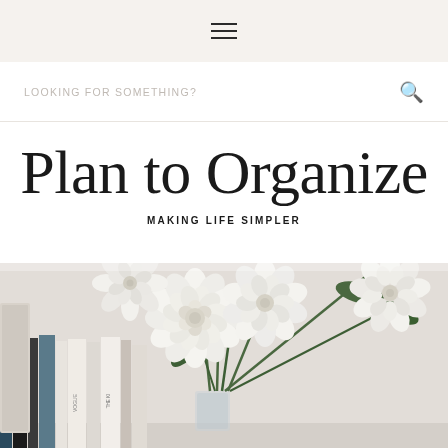≡ (hamburger menu icon)
Looking for something?
Plan to Organize
MAKING LIFE SIMPLER
[Figure (photo): Photo of white dahlia flowers in a glass vase on a shelf with books, against a light neutral background.]